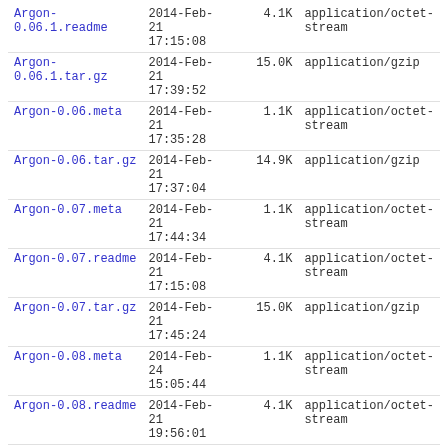| Name | Date | Size | Type |
| --- | --- | --- | --- |
| Argon-0.06.1.readme | 2014-Feb-21 17:15:08 | 4.1K | application/octet-stream |
| Argon-0.06.1.tar.gz | 2014-Feb-21 17:39:52 | 15.0K | application/gzip |
| Argon-0.06.meta | 2014-Feb-21 17:35:28 | 1.1K | application/octet-stream |
| Argon-0.06.tar.gz | 2014-Feb-21 17:37:04 | 14.9K | application/gzip |
| Argon-0.07.meta | 2014-Feb-21 17:44:34 | 1.1K | application/octet-stream |
| Argon-0.07.readme | 2014-Feb-21 17:15:08 | 4.1K | application/octet-stream |
| Argon-0.07.tar.gz | 2014-Feb-21 17:45:24 | 15.0K | application/gzip |
| Argon-0.08.meta | 2014-Feb-24 15:05:44 | 1.1K | application/octet-stream |
| Argon-0.08.readme | 2014-Feb-21 19:56:01 | 4.1K | application/octet-stream |
| Argon-0.08.tar.gz | 2014-Feb-24 15:10:35 | 15.1K | application/gzip |
| Argon-0.09.meta | 2014-Mar-06 | 1.1K | application/octet-stream |